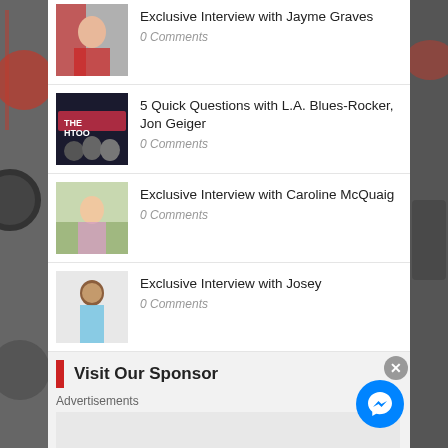Exclusive Interview with Jayme Graves
0 Comments
5 Quick Questions with L.A. Blues-Rocker, Jon Geiger
0 Comments
Exclusive Interview with Caroline McQuaig
0 Comments
Exclusive Interview with Josey
0 Comments
Visit Our Sponsor
Advertisements